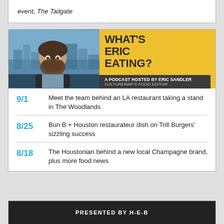event, The Tailgate
[Figure (other): What's Eric Eating? podcast banner with photo of Eric Sandler and yellow title card. Text: WHAT'S ERIC EATING? A PODCAST HOSTED BY ERIC SANDLER CULTUREMAP'S FOOD EDITOR]
9/1 Meet the team behind an LA restaurant taking a stand in The Woodlands
8/25 Bun B + Houston restaurateur dish on Trill Burgers' sizzling success
8/18 The Houstonian behind a new local Champagne brand, plus more food news
PRESENTED BY H-E-B